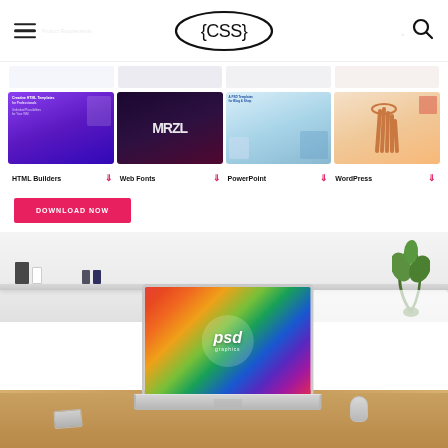{CSS} logo and navigation bar with hamburger menu and search icon
[Figure (screenshot): Category cards strip showing HTML Builders, Web Fonts, PowerPoint, WordPress templates with download icons]
DOWNLOAD NOW
[Figure (photo): Photo of a MacBook laptop on a desk displaying a colorful PSD Graphics wallpaper, with a bookshelf and plant in the background]